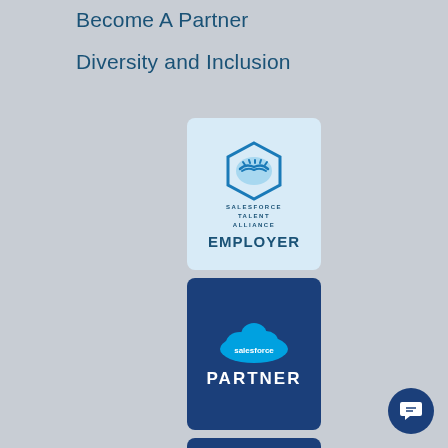Become A Partner
Diversity and Inclusion
[Figure (logo): Salesforce Talent Alliance Employer badge - light blue rounded square with handshake icon and text 'SALESFORCE TALENT ALLIANCE EMPLOYER']
[Figure (logo): Salesforce Partner badge - dark navy blue rounded square with Salesforce cloud logo and text 'PARTNER']
[Figure (logo): salesforce.org Consulting Partner badge - dark navy blue rounded square with cloud icon and text 'salesforce.org CONSULTING PARTNER']
[Figure (logo): Pledge 1% badge - white rectangle with blue border, text 'PLEDGE' and '1%' in gold/orange]